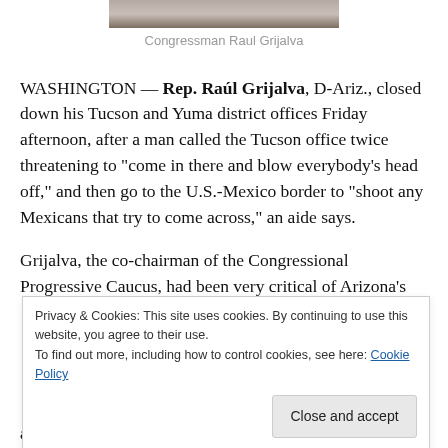[Figure (photo): Partial photo of Congressman Raul Grijalva at top of page]
Congressman Raul Grijalva
WASHINGTON — Rep. Raúl Grijalva, D-Ariz., closed down his Tucson and Yuma district offices Friday afternoon, after a man called the Tucson office twice threatening to “come in there and blow everybody’s head off,” and then go to the U.S.-Mexico border to “shoot any Mexicans that try to come across,” an aide says.
Grijalva, the co-chairman of the Congressional Progressive Caucus, had been very critical of Arizona’s
Privacy & Cookies: This site uses cookies. By continuing to use this website, you agree to their use.
To find out more, including how to control cookies, see here: Cookie Policy
and harassment in Arizona, where 60 percent of the